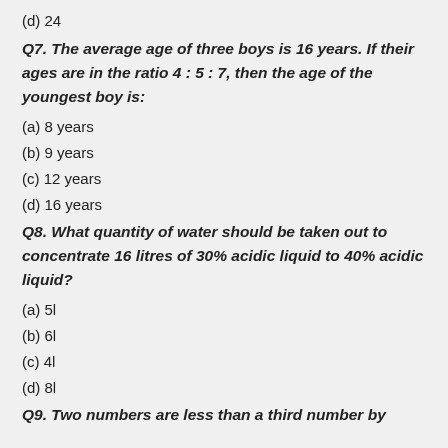(d) 24
Q7. The average age of three boys is 16 years. If their ages are in the ratio 4 : 5 : 7, then the age of the youngest boy is:
(a) 8 years
(b) 9 years
(c) 12 years
(d) 16 years
Q8. What quantity of water should be taken out to concentrate 16 litres of 30% acidic liquid to 40% acidic liquid?
(a) 5l
(b) 6l
(c) 4l
(d) 8l
Q9. Two numbers are less than a third number by